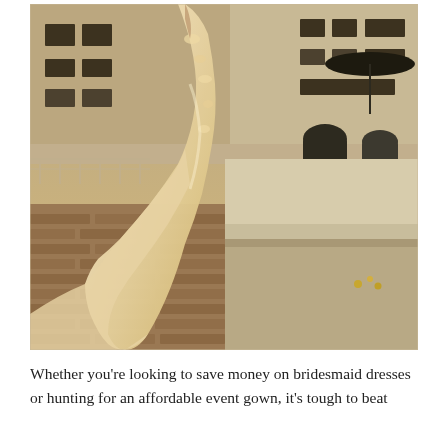[Figure (photo): A person wearing a flowing champagne/ivory embellished gown with floral appliqués and tulle skirt, standing outdoors in warm golden light near a concrete bench/planter. Background shows a modern building facade, dark umbrella, and potted plants on a brick/stone paved surface.]
Whether you're looking to save money on bridesmaid dresses or hunting for an affordable event gown, it's tough to beat